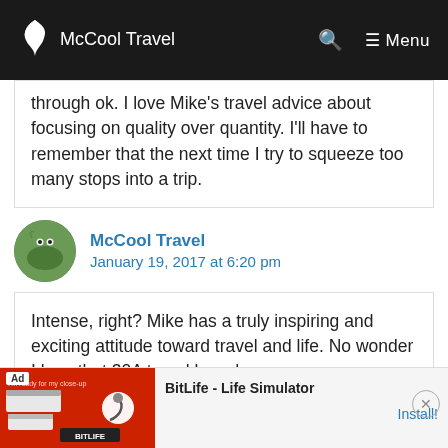McCool Travel
through ok. I love Mike’s travel advice about focusing on quality over quantity. I’ll have to remember that the next time I try to squeeze too many stops into a trip.
McCool Travel
January 19, 2017 at 6:20 pm
Intense, right? Mike has a truly inspiring and exciting attitude toward travel and life. No wonder I love that 30A travel brand.
[Figure (screenshot): Ad banner for BitLife - Life Simulator app with red background image and install button]